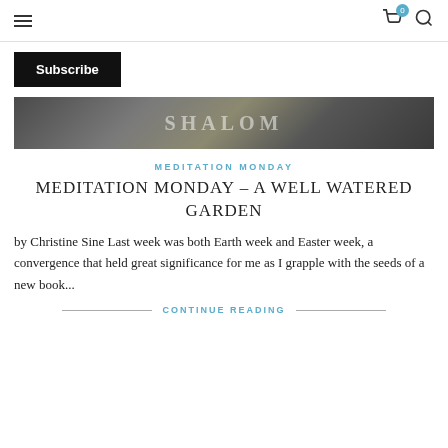≡  🛒 0  🔍
Subscribe
[Figure (photo): Dark decorative image with text reading 'SHALOM' or similar, appears to be a banner or sign image]
MEDITATION MONDAY
MEDITATION MONDAY – A WELL WATERED GARDEN
by Christine Sine Last week was both Earth week and Easter week, a convergence that held great significance for me as I grapple with the seeds of a new book...
CONTINUE READING